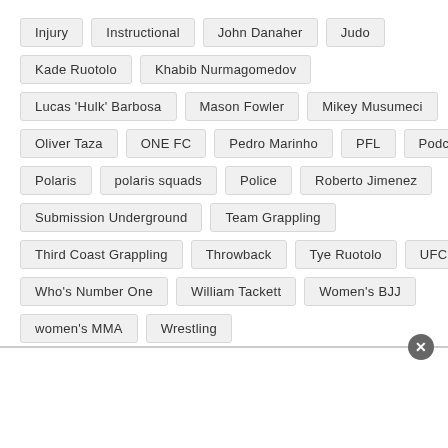Injury
Instructional
John Danaher
Judo
Kade Ruotolo
Khabib Nurmagomedov
Lucas 'Hulk' Barbosa
Mason Fowler
Mikey Musumeci
Oliver Taza
ONE FC
Pedro Marinho
PFL
Podcast
Polaris
polaris squads
Police
Roberto Jimenez
Submission Underground
Team Grappling
Third Coast Grappling
Throwback
Tye Ruotolo
UFC
Who's Number One
William Tackett
Women's BJJ
women's MMA
Wrestling